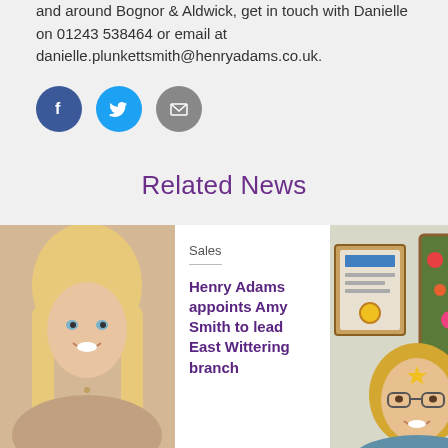01243 538464 or email at danielle.plunkettsmith@henryadams.co.uk.
[Figure (infographic): Three social media share icons: Facebook (blue circle with f), Twitter (cyan circle with bird), Email (grey circle with envelope)]
Related News
[Figure (photo): Professional headshot of a woman with long blonde hair, smiling, wearing a necklace]
Sales
Henry Adams appoints Amy Smith to lead East Wittering branch
[Figure (photo): Woman with curly blonde hair and glasses wearing a red lanyard, standing in front of colorful artwork and a framed certificate]
Community
Trophies awarded for values that make a difference
Read more